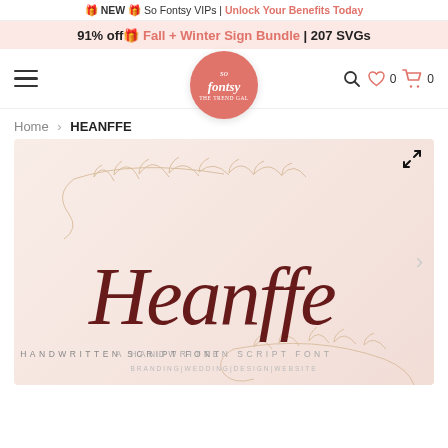🎁 NEW 🎁 So Fontsy VIPs | Unlock Your Benefits Today
91% off🎁 Fall + Winter Sign Bundle | 207 SVGs
[Figure (logo): So Fontsy circular logo in salmon/coral color with italic script text]
Home > HEANFFE
[Figure (illustration): Heanffe handwritten script font product preview on light pink background with botanical line art decorations. Shows elegant calligraphic text reading 'Heanffe' in dark red/maroon. Below reads 'A HANDWRITTEN SCRIPT FONT' and 'BRANDING|WEDDING|DESIGN|WEBSITE']